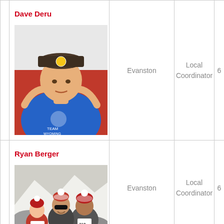Dave Deru
[Figure (photo): Photo of Dave Deru wearing a blue Team Wyoming shirt and dark cap, smiling with arms behind head, red background]
Evanston
Local Coordinator
6
Ryan Berger
[Figure (photo): Photo of Ryan Berger with two other people wearing winter hats and race bibs numbered 221 and 218, outdoors in snow]
Evanston
Local Coordinator
6